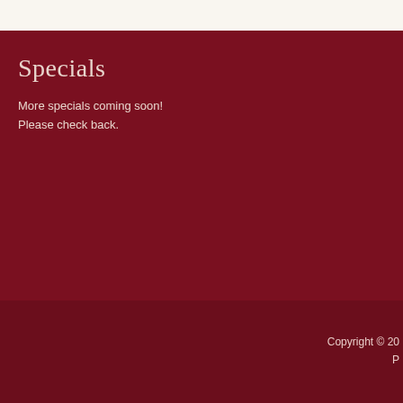Specials
More specials coming soon! Please check back.
Copyright © 20...
P...